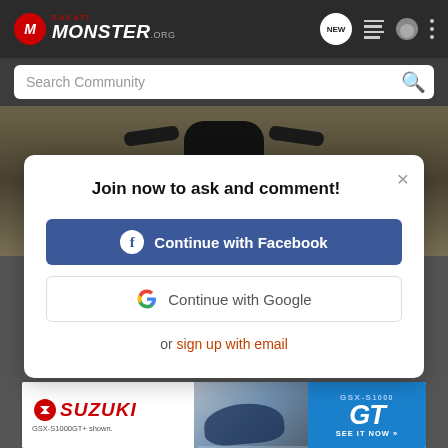[Figure (screenshot): Ducati Monster .org website header with logo on left and icons (NEW chat bubble, list icon, user icon, three-dot menu) on right]
[Figure (screenshot): Search Community search bar with magnifying glass icon on grey background]
[Figure (photo): Motorcycle viewed from below, dark olive/brown background]
Join now to ask and comment!
Continue with Facebook
Continue with Google
or sign up with email
[Figure (screenshot): Suzuki GSX-S1000 GT advertisement banner. Shows Suzuki logo in red italic, motorcycle image, and GSX-S 1000 GT branding on blue background with SEE IT NOW text. Caption: GSX-S1000GT+ shown.]